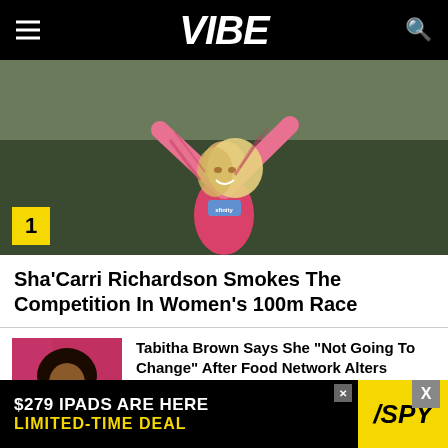VIBE
[Figure (photo): Sha'Carri Richardson celebrating with arms raised, wearing a pink/red lace bodysuit with a race bib, blonde hair, outdoors with green background]
Sha’Carri Richardson Smokes The Competition In Women’s 100m Race
[Figure (photo): Tabitha Brown smiling, wearing colorful outfit, holding microphone, large afro hairstyle, at an event with red background]
Tabitha Brown Says She “Not Going To Change” After Food Network Alters Primetime…
[Figure (other): Advertisement banner: $279 IPADS ARE HERE LIMITED-TIME DEAL with SPY logo]